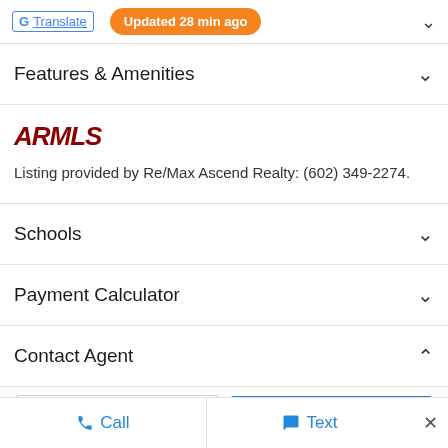Google Translate | Updated 28 min ago
Features & Amenities
[Figure (logo): ARMLS logo in dark red bold italic font]
Listing provided by Re/Max Ascend Realty: (602) 349-2274.
Schools
Payment Calculator
Contact Agent
Call | Text | ×